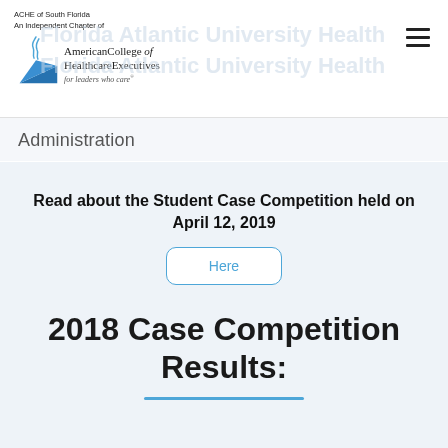ACHE of South Florida
An Independent Chapter of
American College of Healthcare Executives
for leaders who care®
Administration
Read about the Student Case Competition held on April 12, 2019
Here
2018 Case Competition Results: